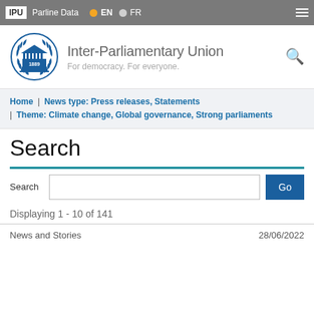IPU | Parline Data | EN | FR
[Figure (logo): Inter-Parliamentary Union logo with laurel wreath, 1889, blue building]
Inter-Parliamentary Union
For democracy. For everyone.
Home | News type: Press releases, Statements | Theme: Climate change, Global governance, Strong parliaments
Search
Search  [input box]  Go
Displaying 1 - 10 of 141
News and Stories    28/06/2022